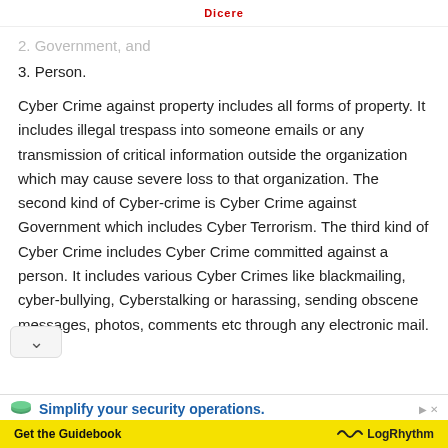Dicere
2. Government, and
3. Person.
Cyber Crime against property includes all forms of property. It includes illegal trespass into someone emails or any transmission of critical information outside the organization which may cause severe loss to that organization. The second kind of Cyber-crime is Cyber Crime against Government which includes Cyber Terrorism. The third kind of Cyber Crime includes Cyber Crime committed against a person. It includes various Cyber Crimes like blackmailing, cyber-bullying, Cyberstalking or harassing, sending obscene messages, photos, comments etc through any electronic mail.
[Figure (infographic): Advertisement banner: 'Simplify your security operations. Get the Guidebook' with LogRhythm logo on yellow/white background]